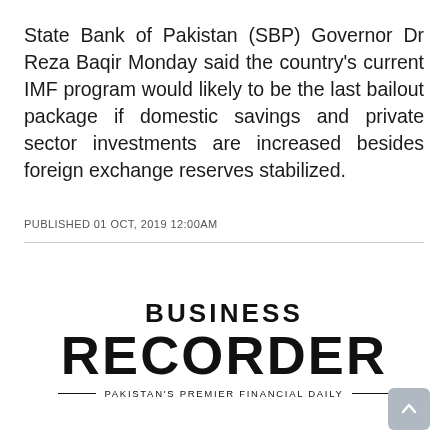State Bank of Pakistan (SBP) Governor Dr Reza Baqir Monday said the country's current IMF program would likely to be the last bailout package if domestic savings and private sector investments are increased besides foreign exchange reserves stabilized.
PUBLISHED 01 OCT, 2019 12:00AM
[Figure (logo): Business Recorder logo — BUSINESS RECORDER — PAKISTAN'S PREMIER FINANCIAL DAILY]